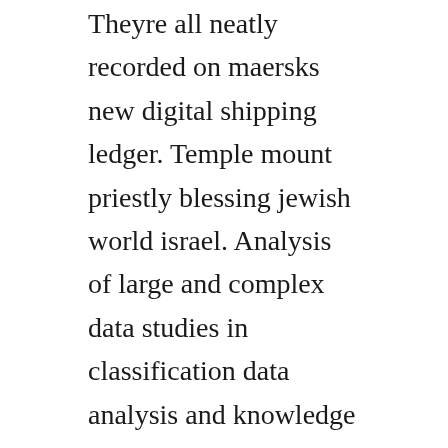Theyre all neatly recorded on maersks new digital shipping ledger. Temple mount priestly blessing jewish world israel. Analysis of large and complex data studies in classification data analysis and knowledge organization download pdf.
Het goddelijke monster moederzorg tv episode 2011 imdb. Geniet van honderden vertalingen, inclusief audio, alles op je mobiele apparaat. On imdb tv, you can catch hollywood hits and popular tv series at no cost. Goddelijke monster straks op groot en klein scherm. Watch the video for hallo...